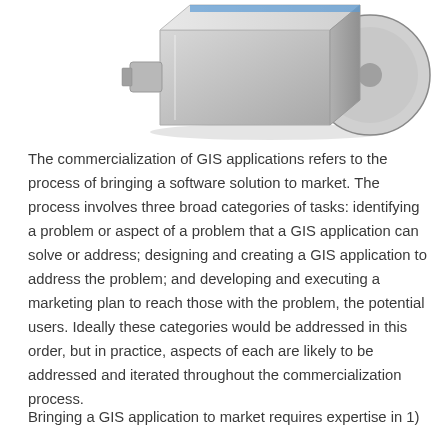[Figure (illustration): 3D illustration of a USB flash drive or similar rectangular silver/gray hardware device with a circular element visible on the right side]
The commercialization of GIS applications refers to the process of bringing a software solution to market. The process involves three broad categories of tasks: identifying a problem or aspect of a problem that a GIS application can solve or address; designing and creating a GIS application to address the problem; and developing and executing a marketing plan to reach those with the problem, the potential users. Ideally these categories would be addressed in this order, but in practice, aspects of each are likely to be addressed and iterated throughout the commercialization process.
Bringing a GIS application to market requires expertise in 1)